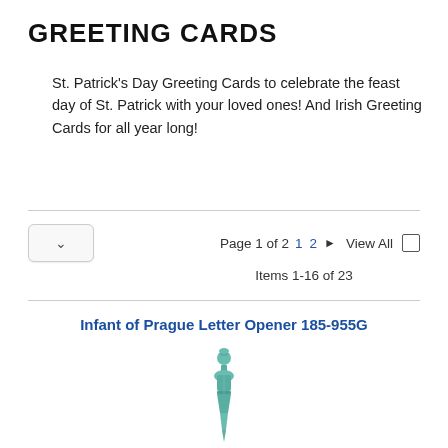GREETING CARDS
St. Patrick’s Day Greeting Cards to celebrate the feast day of St. Patrick with your loved ones! And Irish Greeting Cards for all year long!
Page 1 of 2   1  2  ►  View All □
Items 1-16 of 23
Infant of Prague Letter Opener 185-955G
[Figure (photo): A teal/green colored Infant of Prague letter opener figurine, showing the upper portion of the decorative statue with ornate details at the top and a long tapered body below.]